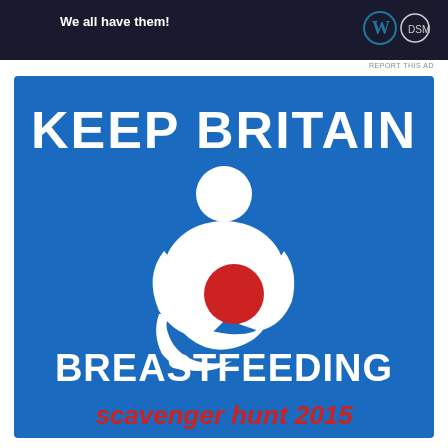[Figure (screenshot): Ad banner with text 'We all have them!' and WordPress and another logo on dark background]
REPORT THIS AD
[Figure (infographic): Blue square infographic with white text 'KEEP BRITAIN' at top, white breastfeeding icon (mother and child silhouette with red circle representing baby head), white text 'BREASTFEEDING' in large letters, and red text 'scavenger hunt 2015' at bottom]